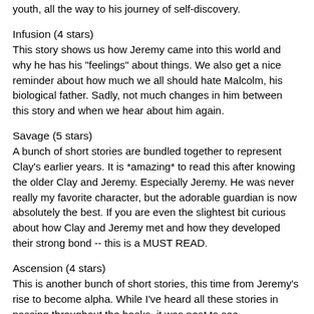youth, all the way to his journey of self-discovery.
Infusion (4 stars)
This story shows us how Jeremy came into this world and why he has his "feelings" about things. We also get a nice reminder about how much we all should hate Malcolm, his biological father. Sadly, not much changes in him between this story and when we hear about him again.
Savage (5 stars)
A bunch of short stories are bundled together to represent Clay's earlier years. It is *amazing* to read this after knowing the older Clay and Jeremy. Especially Jeremy. He was never really my favorite character, but the adorable guardian is now absolutely the best. If you are even the slightest bit curious about how Clay and Jeremy met and how they developed their strong bond -- this is a MUST READ.
Ascension (4 stars)
This is another bunch of short stories, this time from Jeremy's rise to become alpha. While I've heard all these stories in passing throughout the books, it was neat to see